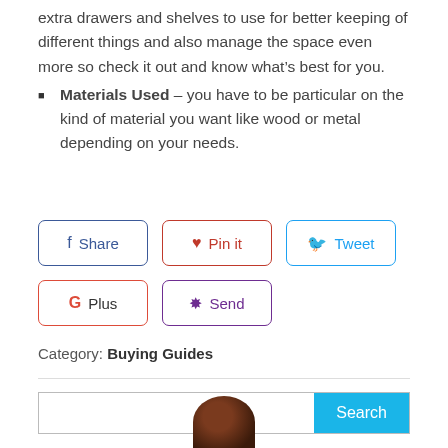extra drawers and shelves to use for better keeping of different things and also manage the space even more so check it out and know what’s best for you.
Materials Used – you have to be particular on the kind of material you want like wood or metal depending on your needs.
[Figure (infographic): Social sharing buttons: Share (Facebook, blue), Pin it (Pinterest, red), Tweet (Twitter, light blue), G Plus (Google Plus, red), Send (Bluetooth, purple)]
Category: Buying Guides
[Figure (screenshot): Search bar with text input and cyan Search button]
[Figure (photo): Partial avatar image at bottom of page]